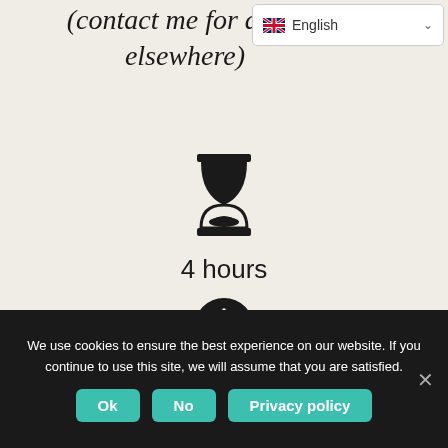[Figure (screenshot): Language selector widget showing English with US flag and dropdown chevron]
(contact me for a c... elsewhere)
[Figure (illustration): Hourglass icon in black outline style]
4 hours
[Figure (illustration): Clock icon, dark filled circle with clock face]
Departure possible
We use cookies to ensure the best experience on our website. If you continue to use this site, we will assume that you are satisfied.